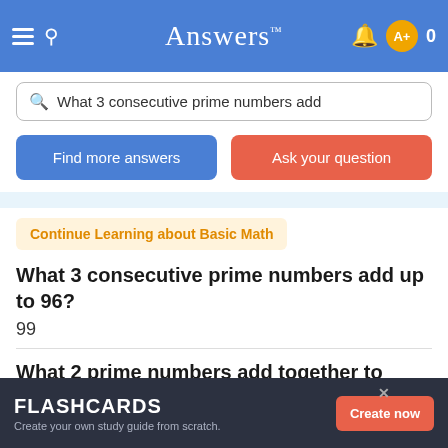Answers
What 3 consecutive prime numbers add
Find more answers
Ask your question
Continue Learning about Basic Math
What 3 consecutive prime numbers add up to 96?
99
What 2 prime numbers add together to make 324?
They are: 227+97 = 324
FLASHCARDS
Create your own study guide from scratch.
Create now